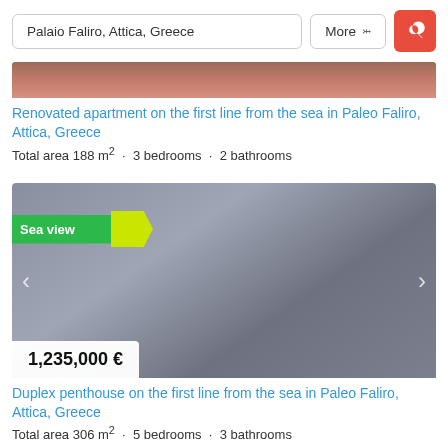Palaio Faliro, Attica, Greece — More — Search
[Figure (photo): Top portion of a property listing photo, partially visible]
Renovated apartment on the first line from the sea in Paleo Faliro, Attica, Greece
Total area 188 m² · 3 bedrooms · 2 bathrooms
[Figure (photo): Duplex penthouse property listing photo with 'Sea view' badge, price tag showing 1,235,000 €, and navigation arrows]
Duplex penthouse on the first line from the sea in Paleo Faliro, Attica, Greece
Total area 306 m² · 5 bedrooms · 3 bathrooms